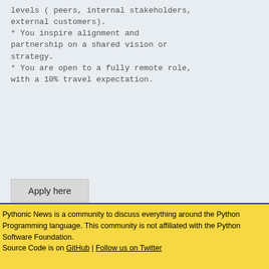levels ( peers, internal stakeholders, external customers).
* You inspire alignment and partnership on a shared vision or strategy.
* You are open to a fully remote role, with a 10% travel expectation.
Apply here
Pythonic News is a community to discuss everything around the Python Programming language. This community is not affiliated with the Python Software Foundation.
Source Code is on GitHub | Follow us on Twitter